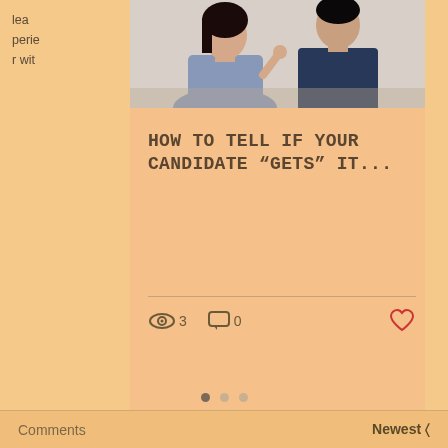[Figure (photo): Partial view of two people — a woman with dark hair and a man in a dark blue shirt — appearing to interact in a professional setting. Left side shows partial text: 'lea...', 'perie...', 'r wit...']
HOW TO TELL IF YOUR CANDIDATE "GETS" IT...
3 views, 0 comments, heart/like icon
Comments   Newest ∨
Loading...